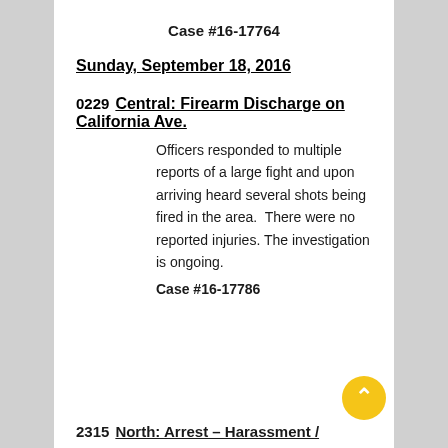Case #16-17764
Sunday, September 18, 2016
0229    Central: Firearm Discharge on California Ave.
Officers responded to multiple reports of a large fight and upon arriving heard several shots being fired in the area.  There were no reported injuries. The investigation is ongoing.
Case #16-17786
2315    North: Arrest – Harassment /